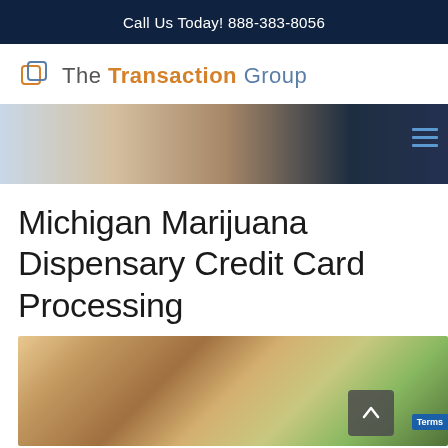Call Us Today! 888-383-8056
[Figure (logo): The Transaction Group logo with icon and text]
[Figure (photo): Hero banner image showing a business desk scene and a person in a suit]
Michigan Marijuana Dispensary Credit Card Processing
[Figure (photo): Photo of hands holding marijuana bud]